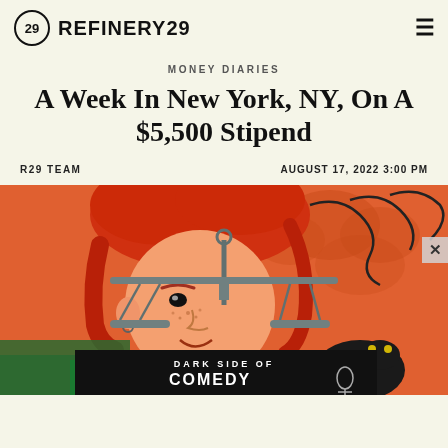REFINERY29
MONEY DIARIES
A Week In New York, NY, On A $5,500 Stipend
R29 TEAM   AUGUST 17, 2022 3:00 PM
[Figure (illustration): Illustration of a red-haired woman holding a balance scale, with financial items on a coral/orange background. An advertisement bar at the bottom reads DARK SIDE OF COMEDY.]